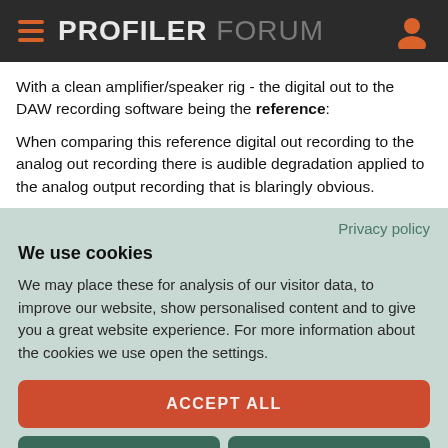PROFILER FORUM
With a clean amplifier/speaker rig - the digital out to the DAW recording software being the reference:
When comparing this reference digital out recording to the analog out recording there is audible degradation applied to the analog output recording that is blaringly obvious.
Privacy policy
We use cookies
We may place these for analysis of our visitor data, to improve our website, show personalised content and to give you a great website experience. For more information about the cookies we use open the settings.
ACCEPT ALL
DENY
NO, ADJUST